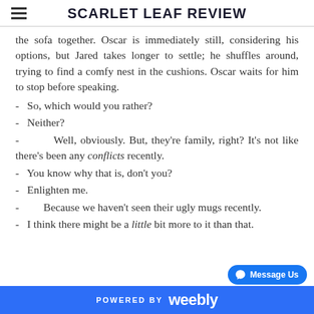SCARLET LEAF REVIEW
the sofa together. Oscar is immediately still, considering his options, but Jared takes longer to settle; he shuffles around, trying to find a comfy nest in the cushions. Oscar waits for him to stop before speaking.
- So, which would you rather?
- Neither?
- Well, obviously. But, they're family, right? It's not like there's been any conflicts recently.
- You know why that is, don't you?
- Enlighten me.
- Because we haven't seen their ugly mugs recently.
- I think there might be a little bit more to it than that.
POWERED BY weebly